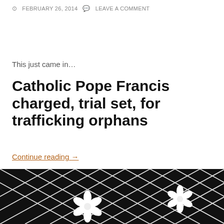FEBRUARY 26, 2014   LEAVE A COMMENT
This just came in...
Catholic Pope Francis charged, trial set, for trafficking orphans
Continue reading →
BENEDICT
CHILD
FRANCIS
LUCIFER
POPE
SATANIST
TRAFFICKING
[Figure (photo): Black and white photo of a net/mesh pattern with white flower decorations]